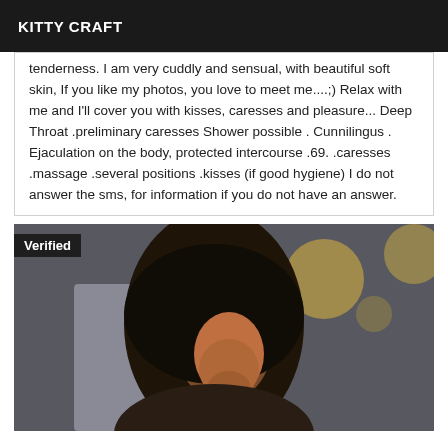KITTY CRAFT
tenderness. I am very cuddly and sensual, with beautiful soft skin, If you like my photos, you love to meet me....;) Relax with me and I'll cover you with kisses, caresses and pleasure... Deep Throat .preliminary caresses Shower possible . Cunnilingus . Ejaculation on the body, protected intercourse .69. .caresses .massage .several positions .kisses (if good hygiene) I do not answer the sms, for information if you do not have an answer.
[Figure (photo): Photo of a woman with long dark hair, face turned downward, with bokeh light effects in background (golden circles). A 'Verified' badge appears in the top-left corner of the image.]